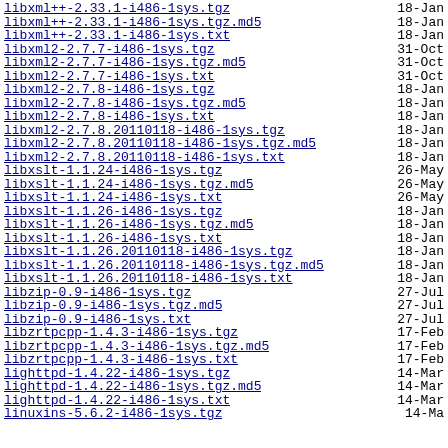libxml++-2.33.1-i486-1sys.tgz - 18-Jan
libxml++-2.33.1-i486-1sys.tgz.md5 - 18-Jan
libxml++-2.33.1-i486-1sys.txt - 18-Jan
libxml2-2.7.7-i486-1sys.tgz - 31-Oct
libxml2-2.7.7-i486-1sys.tgz.md5 - 31-Oct
libxml2-2.7.7-i486-1sys.txt - 31-Oct
libxml2-2.7.8-i486-1sys.tgz - 18-Jan
libxml2-2.7.8-i486-1sys.tgz.md5 - 18-Jan
libxml2-2.7.8-i486-1sys.txt - 18-Jan
libxml2-2.7.8.20110118-i486-1sys.tgz - 18-Jan
libxml2-2.7.8.20110118-i486-1sys.tgz.md5 - 18-Jan
libxml2-2.7.8.20110118-i486-1sys.txt - 18-Jan
libxslt-1.1.24-i486-1sys.tgz - 26-May
libxslt-1.1.24-i486-1sys.tgz.md5 - 26-May
libxslt-1.1.24-i486-1sys.txt - 26-May
libxslt-1.1.26-i486-1sys.tgz - 18-Jan
libxslt-1.1.26-i486-1sys.tgz.md5 - 18-Jan
libxslt-1.1.26-i486-1sys.txt - 18-Jan
libxslt-1.1.26.20110118-i486-1sys.tgz - 18-Jan
libxslt-1.1.26.20110118-i486-1sys.tgz.md5 - 18-Jan
libxslt-1.1.26.20110118-i486-1sys.txt - 18-Jan
libzip-0.9-i486-1sys.tgz - 27-Jul
libzip-0.9-i486-1sys.tgz.md5 - 27-Jul
libzip-0.9-i486-1sys.txt - 27-Jul
libzrtpcpp-1.4.3-i486-1sys.tgz - 17-Feb
libzrtpcpp-1.4.3-i486-1sys.tgz.md5 - 17-Feb
libzrtpcpp-1.4.3-i486-1sys.txt - 17-Feb
lighttpd-1.4.22-i486-1sys.tgz - 14-Mar
lighttpd-1.4.22-i486-1sys.tgz.md5 - 14-Mar
lighttpd-1.4.22-i486-1sys.txt - 14-Mar
linuxins-5.6.2-i486-1sys.tgz - 14-Ma